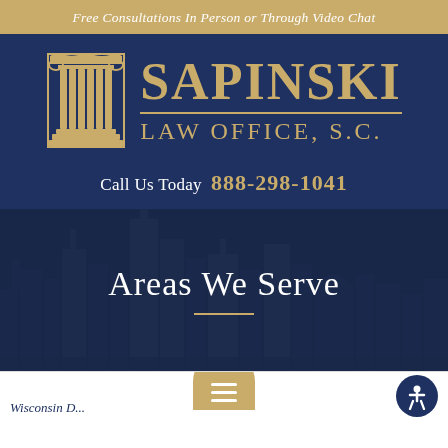Free Consultations In Person or Through Video Chat
[Figure (logo): Sapinski Law Office S.C. logo with Greek column and gold text on dark navy background]
Call Us Today 888-298-1041
Areas We Serve
[Figure (photo): City skyline background (Milwaukee) with dark blue overlay]
[Figure (other): Gold hamburger menu button at bottom center]
[Figure (other): Accessibility icon button (person in circle) at bottom right]
Wisconsin D...